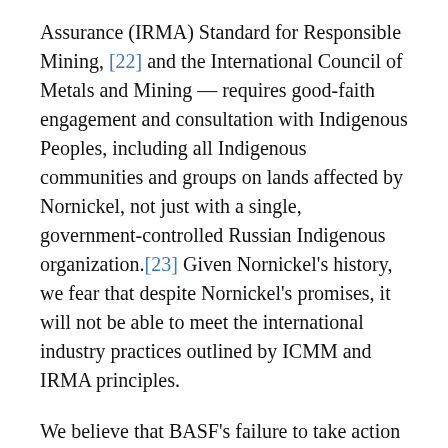Assurance (IRMA) Standard for Responsible Mining, [22] and the International Council of Metals and Mining — requires good-faith engagement and consultation with Indigenous Peoples, including all Indigenous communities and groups on lands affected by Nornickel, not just with a single, government-controlled Russian Indigenous organization.[23] Given Nornickel's history, we fear that despite Nornickel's promises, it will not be able to meet the international industry practices outlined by ICMM and IRMA principles.
We believe that BASF's failure to take action to address Nornickel's impacts to Indigenous Peoples of Russia's Far North represents a violation of BASF's Group Position on Human Rights, which states:
“We expect our suppliers to respect human rights. Our